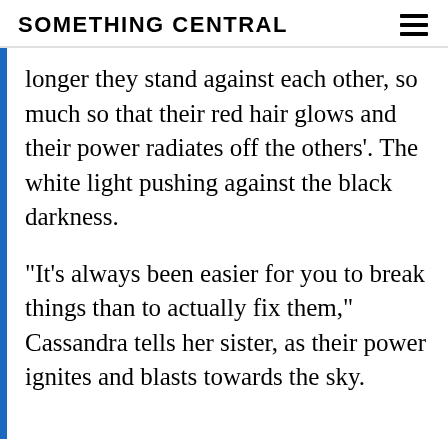SOMETHING CENTRAL
longer they stand against each other, so much so that their red hair glows and their power radiates off the others'. The white light pushing against the black darkness.
“It’s always been easier for you to break things than to actually fix them,” Cassandra tells her sister, as their power ignites and blasts towards the sky.